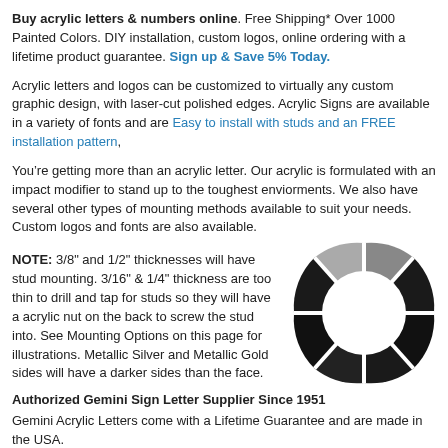Buy acrylic letters & numbers online. Free Shipping* Over 1000 Painted Colors. DIY installation, custom logos, online ordering with a lifetime product guarantee. Sign up & Save 5% Today.
Acrylic letters and logos can be customized to virtually any custom graphic design, with laser-cut polished edges. Acrylic Signs are available in a variety of fonts and are Easy to install with studs and an FREE installation pattern,
You’re getting more than an acrylic letter. Our acrylic is formulated with an impact modifier to stand up to the toughest enviorments. We also have several other types of mounting methods available to suit your needs. Custom logos and fonts are also available.
[Figure (other): A circular spinner/loading icon made of black and gray segments arranged in a ring pattern]
NOTE: 3/8" and 1/2" thicknesses will have stud mounting. 3/16" & 1/4" thickness are too thin to drill and tap for studs so they will have a acrylic nut on the back to screw the stud into. See Mounting Options on this page for illustrations. Metallic Silver and Metallic Gold sides will have a darker sides than the face.
Authorized Gemini Sign Letter Supplier Since 1951
Gemini Acrylic Letters come with a Lifetime Guarantee and are made in the USA.
Upload your Image